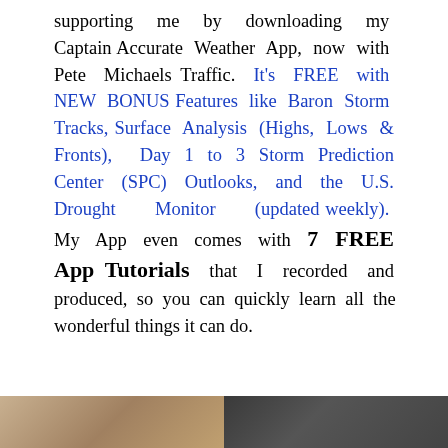supporting me by downloading my Captain Accurate Weather App, now with Pete Michaels Traffic. It's FREE with NEW BONUS Features like Baron Storm Tracks, Surface Analysis (Highs, Lows & Fronts), Day 1 to 3 Storm Prediction Center (SPC) Outlooks, and the U.S. Drought Monitor (updated weekly). My App even comes with 7 FREE App Tutorials that I recorded and produced, so you can quickly learn all the wonderful things it can do.
[Figure (photo): Two photos side by side at the bottom of the page, partially visible]